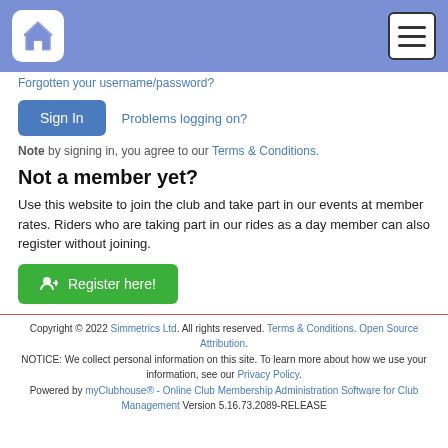Home navigation header with hamburger menu
Forgotten your username/password?
Sign In   Problems logging on?
Note by signing in, you agree to our Terms & Conditions.
Not a member yet?
Use this website to join the club and take part in our events at member rates. Riders who are taking part in our rides as a day member can also register without joining.
Register here!
Copyright © 2022 Simmetrics Ltd. All rights reserved. Terms & Conditions. Open Source Attribution. NOTICE: We collect personal information on this site. To learn more about how we use your information, see our Privacy Policy. Powered by myClubhouse® - Online Club Membership Administration Software for Club Management Version 5.16.73.2089-RELEASE